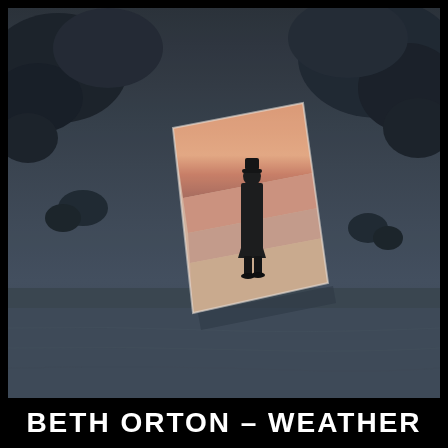[Figure (photo): Album cover photograph: a dark, desaturated beach scene with rocky cliffs in the background. In the center of the image, a tilted/rotated rectangular photograph is embedded showing a solitary figure in a long coat and hat standing on a beach at sunset, with warm orange/pink gradient sky behind them. The outer beach scene is in cold blue-grey tones while the inner photograph shows warm sunset colours.]
BETH ORTON - WEATHER